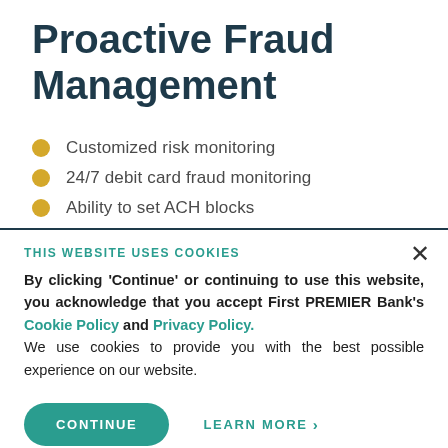Proactive Fraud Management
Customized risk monitoring
24/7 debit card fraud monitoring
Ability to set ACH blocks
THIS WEBSITE USES COOKIES
By clicking 'Continue' or continuing to use this website, you acknowledge that you accept First PREMIER Bank's Cookie Policy and Privacy Policy. We use cookies to provide you with the best possible experience on our website.
CONTINUE
LEARN MORE >